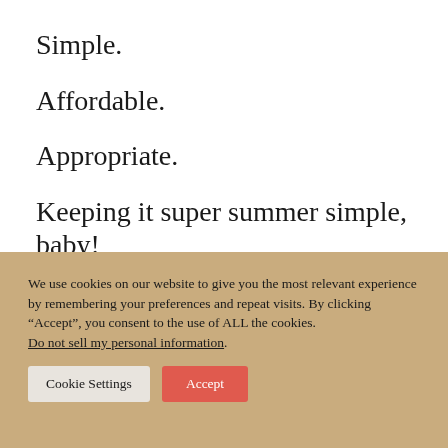Simple.
Affordable.
Appropriate.
Keeping it super summer simple, baby!
We use cookies on our website to give you the most relevant experience by remembering your preferences and repeat visits. By clicking “Accept”, you consent to the use of ALL the cookies. Do not sell my personal information.